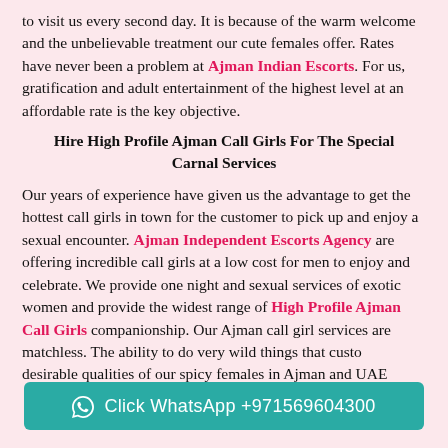to visit us every second day. It is because of the warm welcome and the unbelievable treatment our cute females offer. Rates have never been a problem at Ajman Indian Escorts. For us, gratification and adult entertainment of the highest level at an affordable rate is the key objective.
Hire High Profile Ajman Call Girls For The Special Carnal Services
Our years of experience have given us the advantage to get the hottest call girls in town for the customer to pick up and enjoy a sexual encounter. Ajman Independent Escorts Agency are offering incredible call girls at a low cost for men to enjoy and celebrate. We provide one night and sexual services of exotic women and provide the widest range of High Profile Ajman Call Girls companionship. Our Ajman call girl services are matchless. The ability to do very wild things that customers desirable qualities of our spicy females in Ajman and UAE.
Click WhatsApp +971569604300